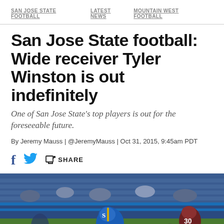SAN JOSE STATE FOOTBALL   LATEST NEWS   MOUNTAIN WEST FOOTBALL
San Jose State football: Wide receiver Tyler Winston is out indefinitely
One of San Jose State's top players is out for the foreseeable future.
By Jeremy Mauss | @JeremyMauss | Oct 31, 2015, 9:45am PDT
f [twitter] SHARE
[Figure (photo): Football game action photo showing a San Jose State player in blue uniform with helmet, with an opposing player wearing number 30 in background, stadium bleachers visible]